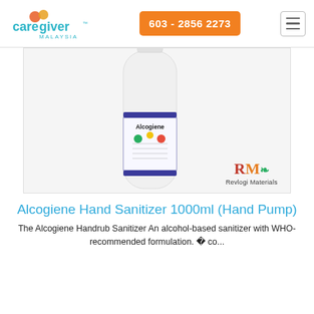[Figure (logo): Caregiver Malaysia logo with orange and red heart icons and teal text]
[Figure (logo): Orange button with phone number 603 - 2856 2273]
[Figure (logo): Hamburger menu icon button]
[Figure (photo): Alcogiene Hand Sanitizer 1000ml bottle with pump, white bottle with blue stripe label, Revlogi Materials logo in bottom right]
Alcogiene Hand Sanitizer 1000ml (Hand Pump)
The Alcogiene Handrub Sanitizer An alcohol-based sanitizer with WHO-recommended formulation. ï co...